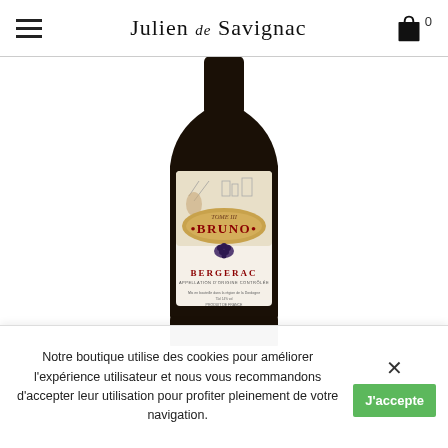Julien de Savignac
[Figure (photo): A bottle of red wine labeled 'Tome III BRUNO Bergerac', dark glass bottle with a white label featuring an illustrated scene and gold banner, product photo on white background.]
Notre boutique utilise des cookies pour améliorer l'expérience utilisateur et nous vous recommandons d'accepter leur utilisation pour profiter pleinement de votre navigation.